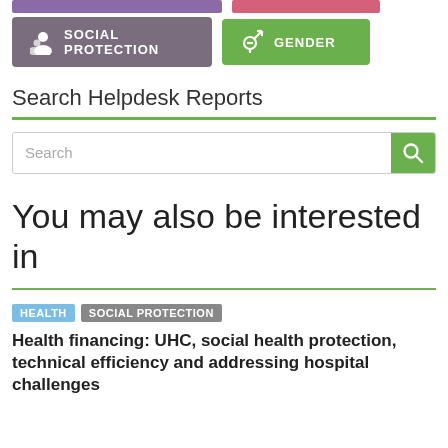[Figure (other): Purple and pink top bar buttons (partial, cropped at top)]
SOCIAL PROTECTION
GENDER
Search Helpdesk Reports
[Figure (other): Search bar with green search button]
You may also be interested in
HEALTH
SOCIAL PROTECTION
Health financing: UHC, social health protection, technical efficiency and addressing hospital challenges